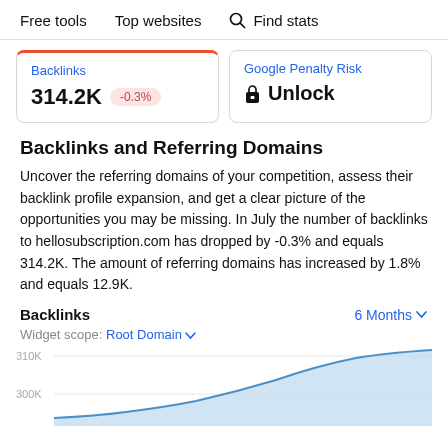Free tools   Top websites   🔍 Find stats
Backlinks 314.2K -0.3%
Google Penalty Risk 🔒 Unlock
Backlinks and Referring Domains
Uncover the referring domains of your competition, assess their backlink profile expansion, and get a clear picture of the opportunities you may be missing. In July the number of backlinks to hellosubscription.com has dropped by -0.3% and equals 314.2K. The amount of referring domains has increased by 1.8% and equals 12.9K.
Backlinks   6 Months ▾
Widget scope: Root Domain ▾
[Figure (area-chart): Area chart showing backlinks over 6 months with y-axis labels 310K and 300K. The curve rises steeply toward the right side of the chart in light blue.]